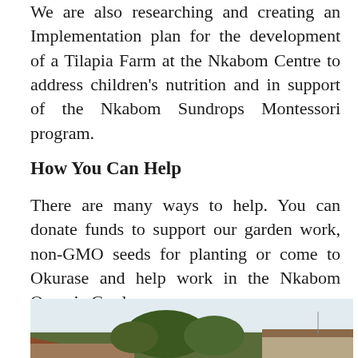We are also researching and creating an Implementation plan for the development of a Tilapia Farm at the Nkabom Centre to address children's nutrition and in support of the Nkabom Sundrops Montessori program.
How You Can Help
There are many ways to help. You can donate funds to support our garden work, non-GMO seeds for planting or come to Okurase and help work in the Nkabom Organic Garden.
[Figure (photo): Outdoor photograph showing a building with a red/brown roof, trees, and an overcast sky, taken at what appears to be the Nkabom Centre.]